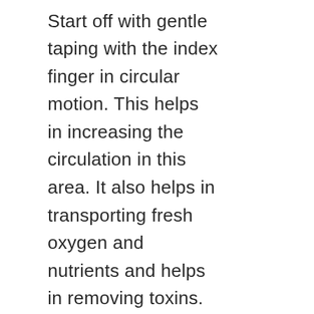Start off with gentle taping with the index finger in circular motion. This helps in increasing the circulation in this area. It also helps in transporting fresh oxygen and nutrients and helps in removing toxins. This one is a great face yoga technique that will help you in getting a smooth skin and reduce under eye bags.
Make sure you don't wrinkle your forehead while performing this exercise.
Exercise 2
Look straight